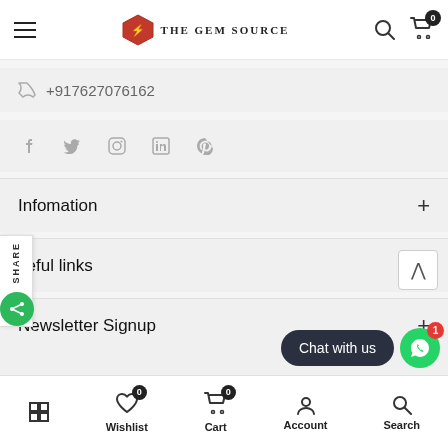[Figure (screenshot): Website header with hamburger menu, The Gem Source logo, search icon, and cart icon with 0 badge]
+917627076162
[Figure (illustration): Social media icons: Facebook, Twitter, Instagram, LinkedIn, Pinterest]
Infomation
seful links
Newsletter Signup
[Figure (illustration): SHARE tab on left side with green share button]
[Figure (illustration): Chat with us button and WhatsApp circle with red badge showing 1]
Wishlist 0  Cart 0  Account  Search